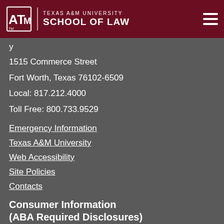Texas A&M University School of Law
1515 Commerce Street
Fort Worth, Texas 76102-6509
Local: 817.212.4000
Toll Free: 800.733.9529
Emergency Information
Texas A&M University
Web Accessibility
Site Policies
Contacts
Consumer Information (ABA Required Disclosures)